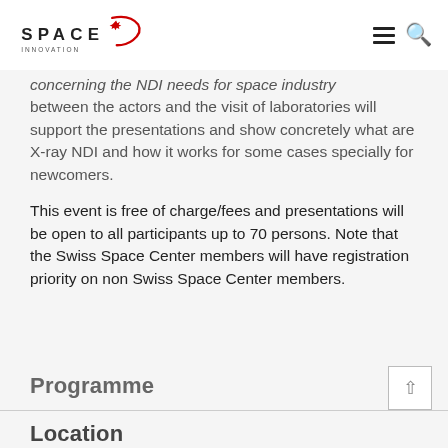Space Innovation
concerning the NDI needs for space industry between the actors and the visit of laboratories will support the presentations and show concretely what are X-ray NDI and how it works for some cases specially for newcomers.
This event is free of charge/fees and presentations will be open to all participants up to 70 persons. Note that the Swiss Space Center members will have registration priority on non Swiss Space Center members.
Programme
Location